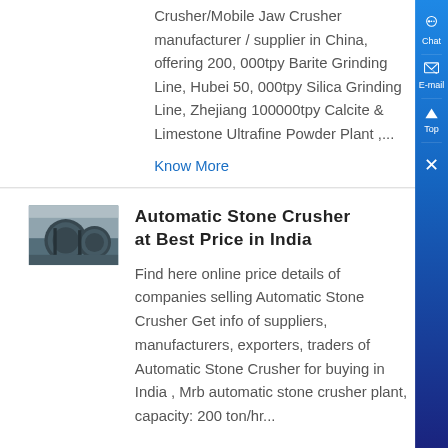Crusher/Mobile Jaw Crusher manufacturer / supplier in China, offering 200, 000tpy Barite Grinding Line, Hubei 50, 000tpy Silica Grinding Line, Zhejiang 100000tpy Calcite & Limestone Ultrafine Powder Plant ,...
Know More
[Figure (photo): Photo of industrial stone crusher machinery/equipment]
Automatic Stone Crusher at Best Price in India
Find here online price details of companies selling Automatic Stone Crusher Get info of suppliers, manufacturers, exporters, traders of Automatic Stone Crusher for buying in India , Mrb automatic stone crusher plant, capacity: 200 ton/hr...